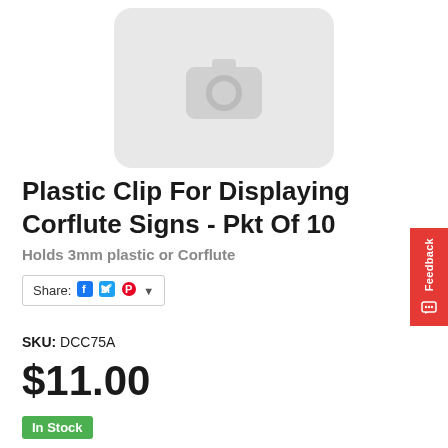[Figure (photo): Placeholder image with camera icon on light grey rounded rectangle background]
Plastic Clip For Displaying Corflute Signs - Pkt Of 10
Holds 3mm plastic or Corflute
Share: [Facebook] [Twitter] [Pinterest] ▾
SKU: DCC75A
$11.00
In Stock